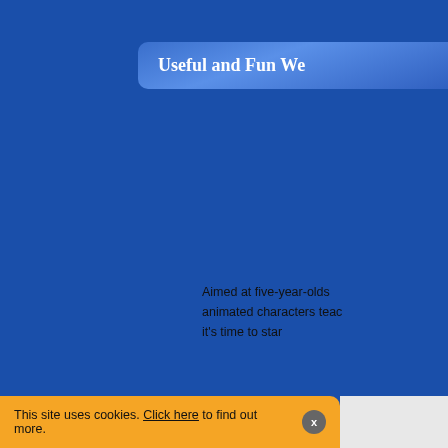Useful and Fun We
Aimed at five-year-olds animated characters teac it’s time to star
Toc and Roll is a beauti using its bank of sample for primary-scho
Kapu Bloom Tunes is a
This site uses cookies. Click here to find out more. x